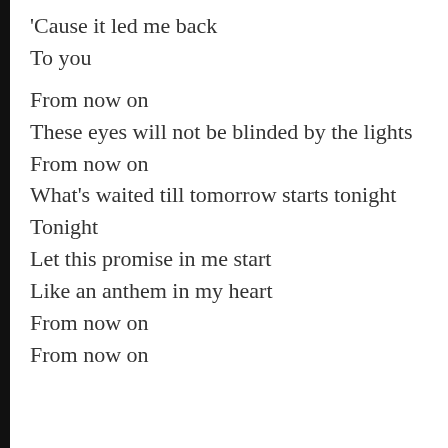'Cause it led me back
To you

From now on
These eyes will not be blinded by the lights
From now on
What's waited till tomorrow starts tonight
Tonight
Let this promise in me start
Like an anthem in my heart
From now on
From now on